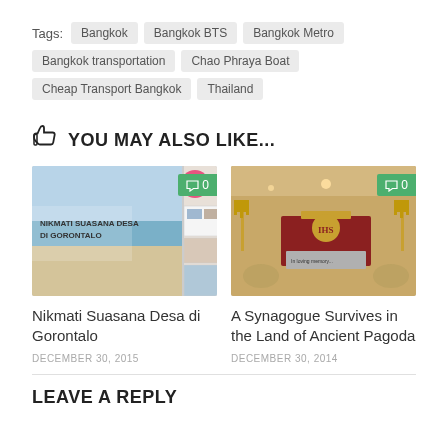Tags: Bangkok  Bangkok BTS  Bangkok Metro  Bangkok transportation  Chao Phraya Boat  Cheap Transport Bangkok  Thailand
YOU MAY ALSO LIKE...
[Figure (photo): Thumbnail image for article 'Nikmati Suasana Desa di Gorontalo' — beach scene and travel collage with comment badge showing 0]
Nikmati Suasana Desa di Gorontalo
DECEMBER 30, 2015
[Figure (photo): Thumbnail image for article 'A Synagogue Survives in the Land of Ancient Pagoda' — interior of a synagogue with menorahs, comment badge showing 0]
A Synagogue Survives in the Land of Ancient Pagoda
DECEMBER 30, 2014
LEAVE A REPLY